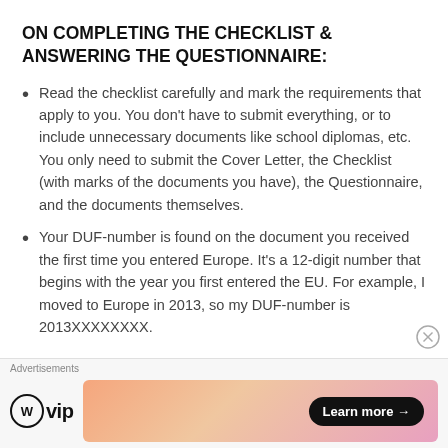ON COMPLETING THE CHECKLIST & ANSWERING THE QUESTIONNAIRE:
Read the checklist carefully and mark the requirements that apply to you. You don't have to submit everything, or to include unnecessary documents like school diplomas, etc. You only need to submit the Cover Letter, the Checklist (with marks of the documents you have), the Questionnaire, and the documents themselves.
Your DUF-number is found on the document you received the first time you entered Europe. It's a 12-digit number that begins with the year you first entered the EU. For example, I moved to Europe in 2013, so my DUF-number is 2013XXXXXXXX.
Advertisements
[Figure (logo): WordPress VIP logo and advertisement banner with 'Learn more →' button]